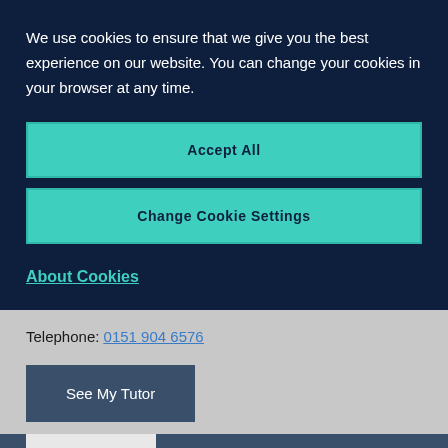We use cookies to ensure that we give you the best experience on our website. You can change your cookies in your browser at any time.
Accept All
Change Cookie Settings
About Cookies
Telephone: 0151 904 6576
See My Tutor